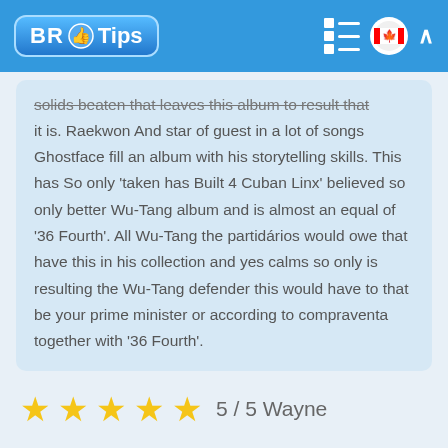BR Tips
solids beaten that leaves this album to result that it is. Raekwon And star of guest in a lot of songs Ghostface fill an album with his storytelling skills. This has So only 'taken has Built 4 Cuban Linx' believed so only better Wu-Tang album and is almost an equal of '36 Fourth'. All Wu-Tang the partidários would owe that have this in his collection and yes calms so only is resulting the Wu-Tang defender this would have to that be your prime minister or according to compraventa together with '36 Fourth'.
5 / 5  Wayne